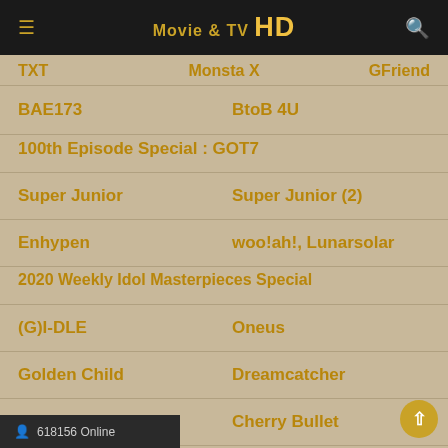Movie & TV HD
TXT | Monsta X | GFriend
BAE173 | BtoB 4U
100th Episode Special : GOT7
Super Junior | Super Junior (2)
Enhypen | woo!ah!, Lunarsolar
2020 Weekly Idol Masterpieces Special
(G)I-DLE | Oneus
Golden Child | Dreamcatcher
CRAVITY | Cherry Bullet
Super Junior (Shindong, Donghae)
618156 Online